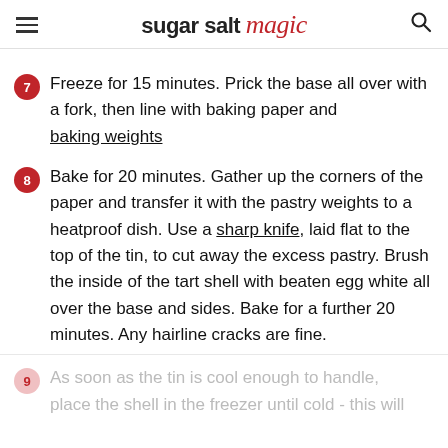sugar salt magic
7 Freeze for 15 minutes. Prick the base all over with a fork, then line with baking paper and baking weights
8 Bake for 20 minutes. Gather up the corners of the paper and transfer it with the pastry weights to a heatproof dish. Use a sharp knife, laid flat to the top of the tin, to cut away the excess pastry. Brush the inside of the tart shell with beaten egg white all over the base and sides. Bake for a further 20 minutes. Any hairline cracks are fine.
9 As soon as the tin is cool enough to handle, place the shell in the freezer until cold - this will